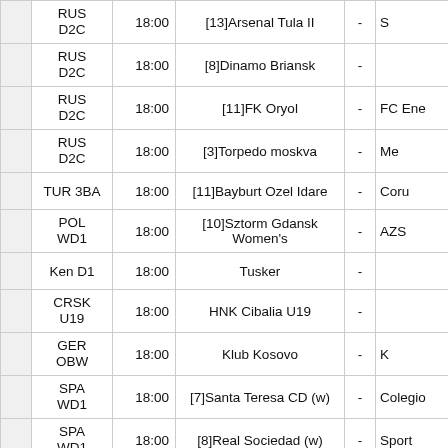|  | League | Time | Home Team |  | Away Team |
| --- | --- | --- | --- | --- | --- |
|  | RUS D2C | 18:00 | [13]Arsenal Tula II | - | S... |
|  | RUS D2C | 18:00 | [8]Dinamo Briansk | - |  |
|  | RUS D2C | 18:00 | [11]FK Oryol | - | FC Ene... |
|  | RUS D2C | 18:00 | [3]Torpedo moskva | - | Me... |
|  | TUR 3BA | 18:00 | [11]Bayburt Ozel Idare | - | Coru... |
|  | POL WD1 | 18:00 | [10]Sztorm Gdansk Women's | - | AZS... |
|  | Ken D1 | 18:00 | Tusker | - |  |
|  | CRSK U19 | 18:00 | HNK Cibalia U19 | - |  |
|  | GER OBW | 18:00 | Klub Kosovo | - | ... |
|  | SPA WD1 | 18:00 | [7]Santa Teresa CD (w) | - | Colegio... |
|  | SPA WD1 | 18:00 | [8]Real Sociedad (w) | - | Sport... |
|  | SPA WD1 | 18:00 | [11]Transportes Alcaine (w) | - | RCD... |